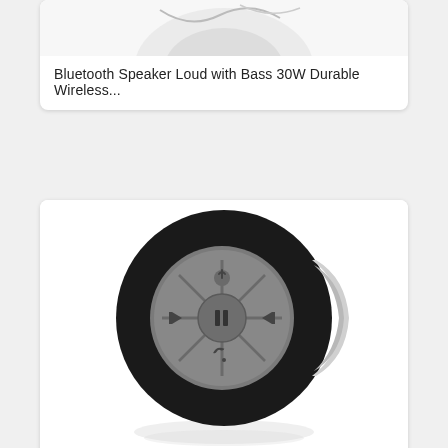[Figure (photo): Partial view of a Bluetooth speaker product photo on white background]
Bluetooth Speaker Loud with Bass 30W Durable Wireless...
[Figure (photo): Black round Bluetooth shower speaker with gray circular control panel showing power, play/pause, skip, and phone buttons]
Bluetooth Shower Speaker Waterproof - Wireless Handsfree...